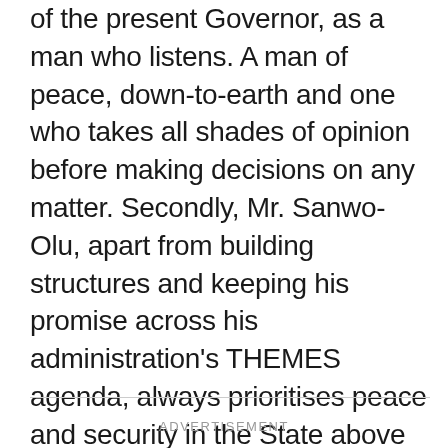of the present Governor, as a man who listens. A man of peace, down-to-earth and one who takes all shades of opinion before making decisions on any matter. Secondly, Mr. Sanwo-Olu, apart from building structures and keeping his promise across his administration's THEMES agenda, always prioritises peace and security in the State above many other interests. He recognises that, it is in the atmosphere of peace and security that sustainable development can be achieved. Furthermore, this Governor cares about the welfare of all the residents of Lagos, irrespective of their social status, age or gender.
ADVERTISEMENT